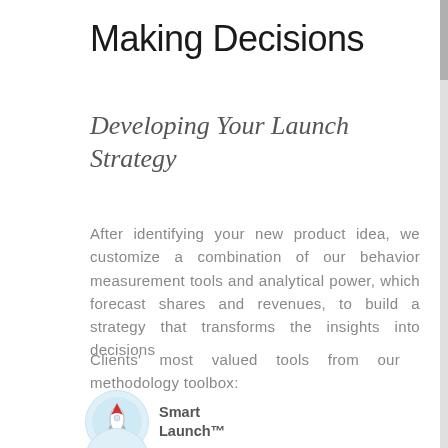Making Decisions
Developing Your Launch Strategy
After identifying your new product idea, we customize a combination of our behavior measurement tools and analytical power, which forecast shares and revenues, to build a strategy that transforms the insights into decisions
Clients' most valued tools from our methodology toolbox:
[Figure (logo): Rocket icon in a light blue circle]
Smart Launch™